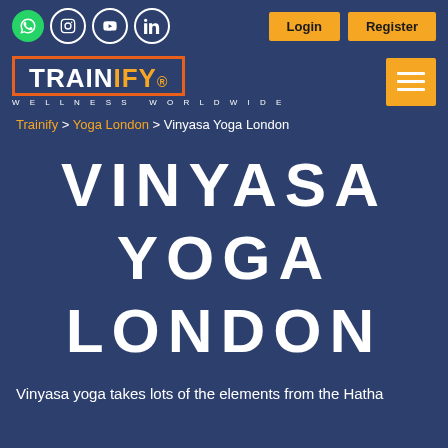[Figure (screenshot): Top navigation bar with social media icons (WhatsApp, Instagram, YouTube, LinkedIn) and Login/Register buttons on dark blue background]
[Figure (logo): Trainify logo with orange border box, white TRAIN text and orange IFY text, subtitle WELLNESS WORLDWIDE, and orange hamburger menu button on the right]
Trainify > Yoga London > Vinyasa Yoga London
VINYASA YOGA LONDON
Vinyasa yoga takes lots of the elements from the Hatha